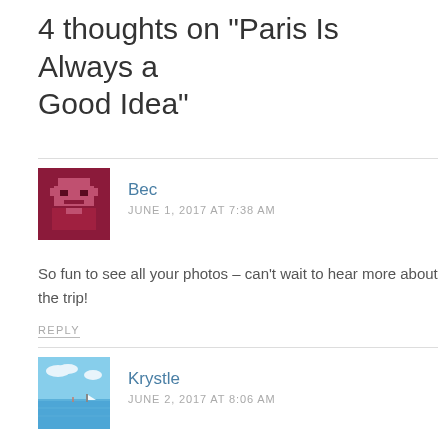4 thoughts on “Paris Is Always a Good Idea”
[Figure (illustration): Pixel-art avatar of commenter Bec, dark red/maroon background with pixelated face graphic]
Bec
JUNE 1, 2017 AT 7:38 AM
So fun to see all your photos – can’t wait to hear more about the trip!
REPLY
[Figure (photo): Photo of a beach scene with blue sky, calm water, and a small sailboat or figure in the distance]
Krystle
JUNE 2, 2017 AT 8:06 AM